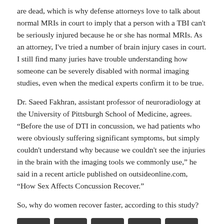are dead, which is why defense attorneys love to talk about normal MRIs in court to imply that a person with a TBI can't be seriously injured because he or she has normal MRIs. As an attorney, I've tried a number of brain injury cases in court. I still find many juries have trouble understanding how someone can be severely disabled with normal imaging studies, even when the medical experts confirm it to be true.
Dr. Saeed Fakhran, assistant professor of neuroradiology at the University of Pittsburgh School of Medicine, agrees. “Before the use of DTI in concussion, we had patients who were obviously suffering significant symptoms, but simply couldn't understand why because we couldn't see the injuries in the brain with the imaging tools we commonly use,” he said in a recent article published on outsideonline.com, “How Sex Affects Concussion Recover.”
So, why do women recover faster, according to this study?
[Figure (other): Social sharing buttons row: Facebook, Twitter, LinkedIn, Pinterest, Email]